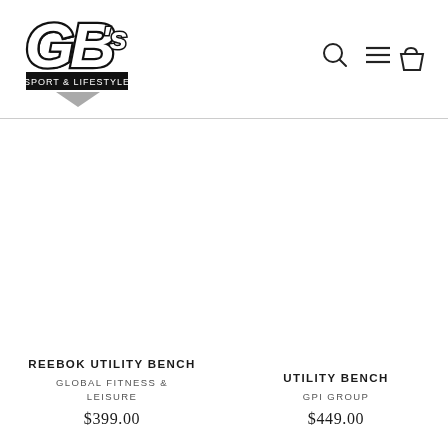[Figure (logo): GB's Sport & Lifestyle logo with stylized GB letters and downward pointing triangle]
[Figure (other): Header icons: search magnifying glass, hamburger menu lines, shopping bag]
[Figure (photo): Product image area for Reebok Utility Bench (white/blank)]
REEBOK UTILITY BENCH
GLOBAL FITNESS & LEISURE
$399.00
[Figure (photo): Product image area for Utility Bench (white/blank)]
UTILITY BENCH
GPI GROUP
$449.00